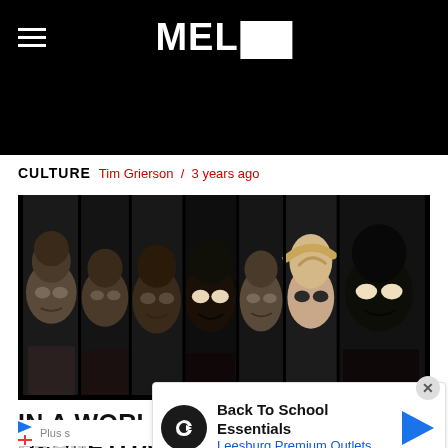MEL
CULTURE  Tim Grierson / 3 years ago
[Figure (photo): Composite image of multiple faces arranged in vertical strips against a dark background, dramatic lighting, various people looking intensely at camera]
IN A WORLD OF SELF-PERPETUATING FRANCHISES, SOME...
Back To School Essentials
Leesburg Premium Outlets
Plus s... iew